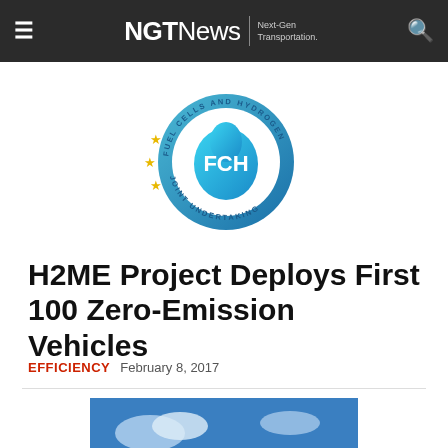NGTNews | Next-Gen Transportation.
[Figure (logo): FCH Fuel Cells and Hydrogen Joint Undertaking circular logo with blue gradient circle and gold stars]
H2ME Project Deploys First 100 Zero-Emission Vehicles
EFFICIENCY  February 8, 2017
[Figure (photo): Row of yellow school buses parked under a blue sky]